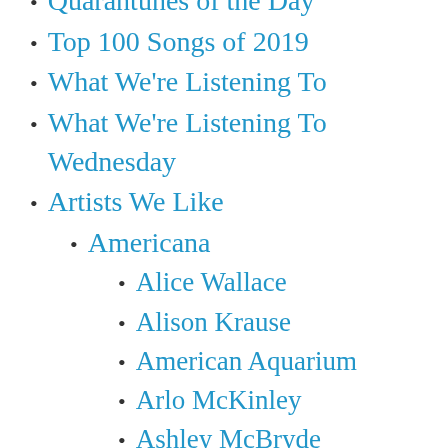Quarantunes of the Day
Top 100 Songs of 2019
What We're Listening To
What We're Listening To Wednesday
Artists We Like
Americana
Alice Wallace
Alison Krause
American Aquarium
Arlo McKinley
Ashley McBryde
Band of Heathens
Banditos
Billy Strings
Blackberry Smoke
Blank Range
Calexico